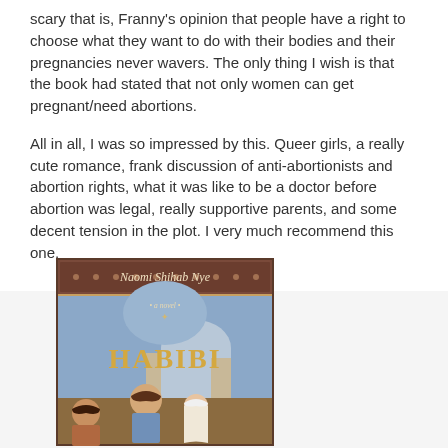scary that is, Franny's opinion that people have a right to choose what they want to do with their bodies and their pregnancies never wavers. The only thing I wish is that the book had stated that not only women can get pregnant/need abortions.
All in all, I was so impressed by this. Queer girls, a really cute romance, frank discussion of anti-abortionists and abortion rights, what it was like to be a doctor before abortion was legal, really supportive parents, and some decent tension in the plot. I very much recommend this one.
[Figure (illustration): Book cover of 'Habibi' by Naomi Shihab Nye. The cover shows the text 'Naomi Shihab Nye' at the top in italic script on a dark decorative border, then 'a novel' in small text, a large decorative letter, and 'HABIBI' in large golden letters. Below is an illustrated scene with figures including a young girl in the foreground and another figure in the background, with a dome building visible. The cover has warm earthy tones with blue and gold.]